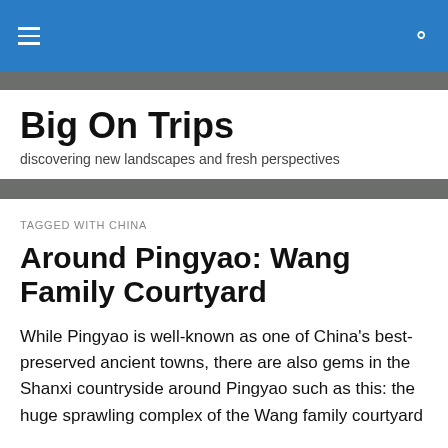Big On Trips
Big On Trips
discovering new landscapes and fresh perspectives
TAGGED WITH CHINA
Around Pingyao: Wang Family Courtyard
While Pingyao is well-known as one of China's best-preserved ancient towns, there are also gems in the Shanxi countryside around Pingyao such as this: the huge sprawling complex of the Wang family courtyard